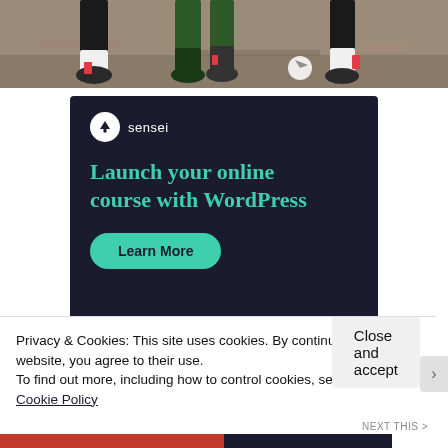[Figure (photo): Sports photo showing soccer/football players' feet and legs running on a dirt field. Players wearing cleats, one in green and black, another with red shin guards.]
[Figure (infographic): Sensei advertisement banner with dark navy background. Shows Sensei logo (tree icon in white circle), headline 'Launch your online course with WordPress', and a teal 'Learn More' button.]
Privacy & Cookies: This site uses cookies. By continuing to use this website, you agree to their use.
To find out more, including how to control cookies, see here: Cookie Policy
Close and accept